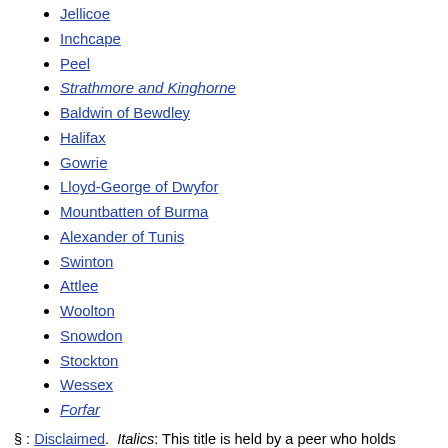Jellicoe
Inchcape
Peel
Strathmore and Kinghorne
Baldwin of Bewdley
Halifax
Gowrie
Lloyd-George of Dwyfor
Mountbatten of Burma
Alexander of Tunis
Swinton
Attlee
Woolton
Snowdon
Stockton
Wessex
Forfar
§ : Disclaimed.  Italics: This title is held by a peer who holds another earldom of higher precedence.
Categories
Categories:
Earldoms in the Peerage of England
Noble titles created in 1081